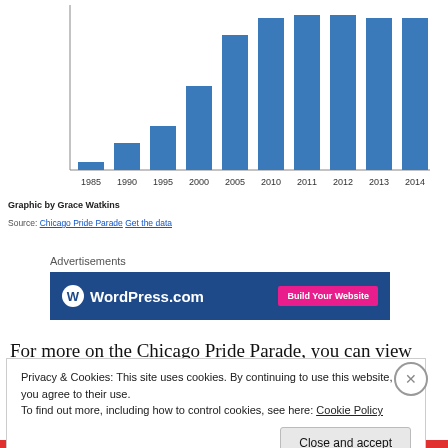[Figure (bar-chart): Chicago Pride Parade Attendance]
Graphic by Grace Watkins
Source: Chicago Pride Parade Get the data
Advertisements
[Figure (screenshot): WordPress.com advertisement banner with 'Build Your Website' button]
For more on the Chicago Pride Parade, you can view the interactive version of the graph here.
Privacy & Cookies: This site uses cookies. By continuing to use this website, you agree to their use.
To find out more, including how to control cookies, see here: Cookie Policy
Close and accept